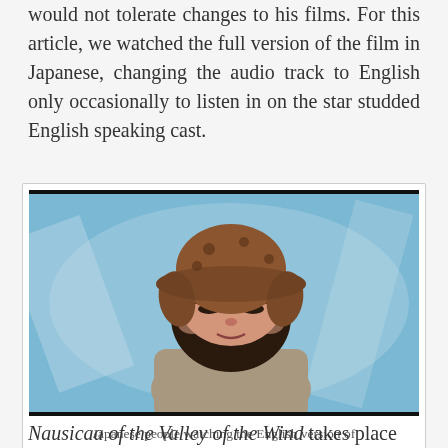would not tolerate changes to his films. For this article, we watched the full version of the film in Japanese, changing the audio track to English only occasionally to listen in on the star studded English speaking cast.
[Figure (illustration): Anime screenshot from Nausicaa of the Valley of the Wind showing a young male character wearing a large brown hat, with a blue background. Below the image is a meme-style caption.]
Japanese people watching the English version of Nausicaa be like…
Nausicaa of the Valley of the Wind takes place